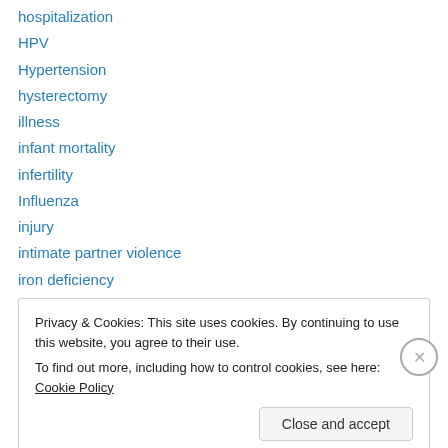hospitalization
HPV
Hypertension
hysterectomy
illness
infant mortality
infertility
Influenza
injury
intimate partner violence
iron deficiency
JAMA
Jessie Davis
Privacy & Cookies: This site uses cookies. By continuing to use this website, you agree to their use.
To find out more, including how to control cookies, see here: Cookie Policy
Close and accept